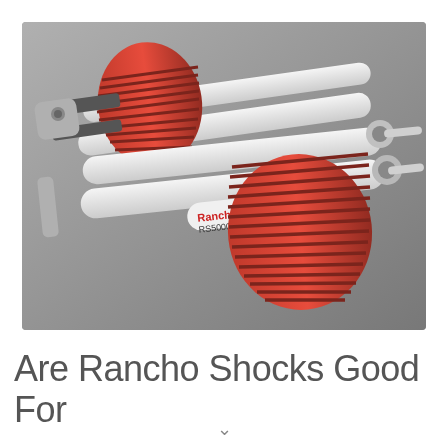[Figure (photo): Product photo of Rancho RS5000 shock absorbers — white cylindrical bodies with red coil boot covers, multiple shocks laid diagonally on a gray background.]
Are Rancho Shocks Good For